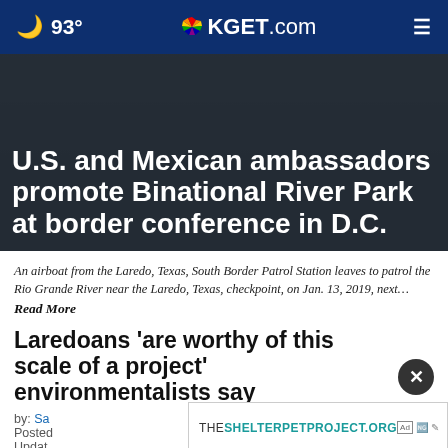🌙 93° KGET.com ≡
U.S. and Mexican ambassadors promote Binational River Park at border conference in D.C.
An airboat from the Laredo, Texas, South Border Patrol Station leaves to patrol the Rio Grande River near the Laredo, Texas, checkpoint, on Jan. 13, 2019, next…
Read More
Laredoans 'are worthy of this scale of a project' environmentalists say
by: Sa... Posted... Updat...
[Figure (screenshot): Advertisement banner for THESHELTERPETPROJECT.ORG with ad icons]